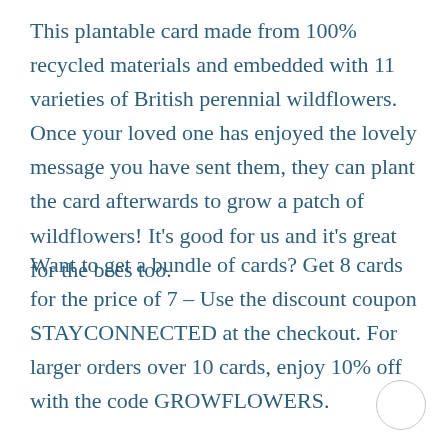This plantable card made from 100% recycled materials and embedded with 11 varieties of British perennial wildflowers. Once your loved one has enjoyed the lovely message you have sent them, they can plant the card afterwards to grow a patch of wildflowers! It's good for us and it's great for the bees too.
Want to get a bundle of cards? Get 8 cards for the price of 7 – Use the discount coupon STAYCONNECTED at the checkout. For larger orders over 10 cards, enjoy 10% off with the code GROWFLOWERS.